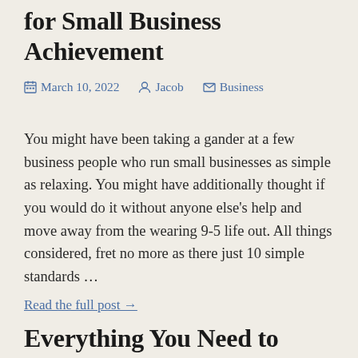for Small Business Achievement
March 10, 2022  Jacob  Business
You might have been taking a gander at a few business people who run small businesses as simple as relaxing. You might have additionally thought if you would do it without anyone else's help and move away from the wearing 9-5 life out. All things considered, fret no more as there just 10 simple standards ...
Read the full post →
Everything You Need to